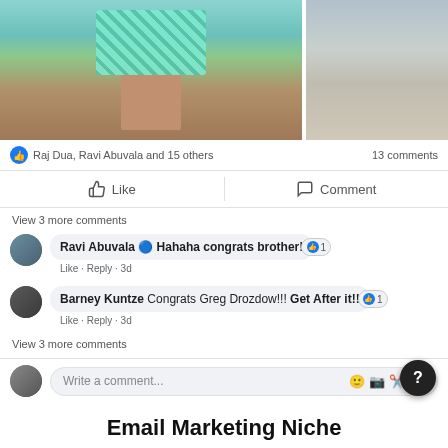[Figure (screenshot): Facebook post screenshot showing two photos (person in swimsuit shorts in water, beach scene), reaction bar with likes and comments count, Like and Comment buttons, comments from Ravi Abuvala and Barney Kuntze, write a comment input, and Email Marketing Niche section title]
Raj Dua, Ravi Abuvala and 15 others
13 comments
Like
Comment
View 3 more comments
Ravi Abuvala 🔵 Hahaha congrats brother!
Like · Reply · 3d
Barney Kuntze Congrats Greg Drozdow!!! Get After it!!
Like · Reply · 3d
View 3 more comments
Write a comment...
Email Marketing Niche